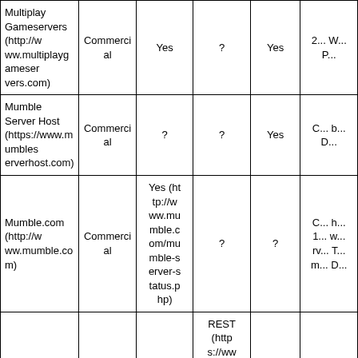| Multiplay Gameservers (http://www.multiplaygameservers.com) | Commercial | Yes | ? | Yes | 2... W... P... |
| Mumble Server Host (https://www.mumbleserverhost.com) | Commercial | ? | ? | Yes | C... b... D... |
| Mumble.com (http://www.mumble.com) | Commercial | Yes (http://www.mumble.com/mumble-server-status.php) | ? | ? | C... h... 1... w... rv... T... m... D... |
| MumbleBoxes (https://www.mumbleboxes.com/) | Commercial | Yes | REST (https://www.mumbleboxes.com/faqs/23-do-you-ha ve-an-a... | ? | F... c... |